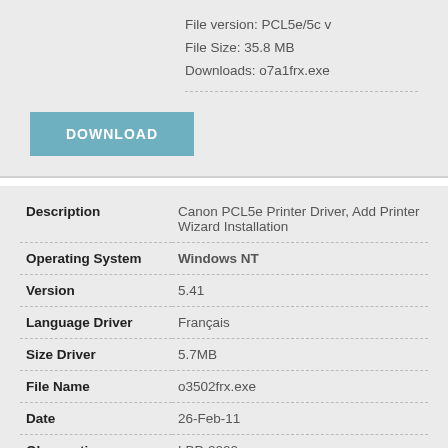File version: PCL5e/5c v
File Size: 35.8 MB
Downloads: o7a1frx.exe
DOWNLOAD
| Field | Value |
| --- | --- |
| Description | Canon PCL5e Printer Driver, Add Printer Wizard Installation |
| Operating System | Windows NT |
| Version | 5.41 |
| Language Driver | Français |
| Size Driver | 5.7MB |
| File Name | o3502frx.exe |
| Date | 26-Feb-11 |
| Observations | LBP-2000 |